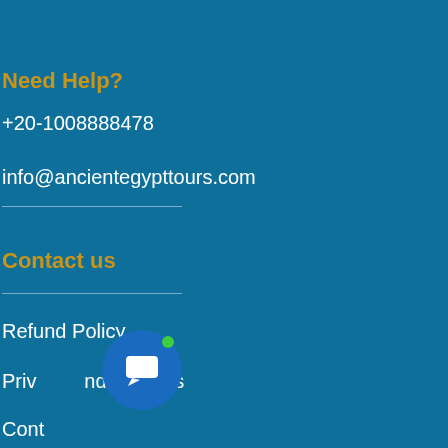Need Help?
+20-1008888478
info@ancientegypttours.com
Contact us
Refund Policy
Privacy and Cookies
Contact